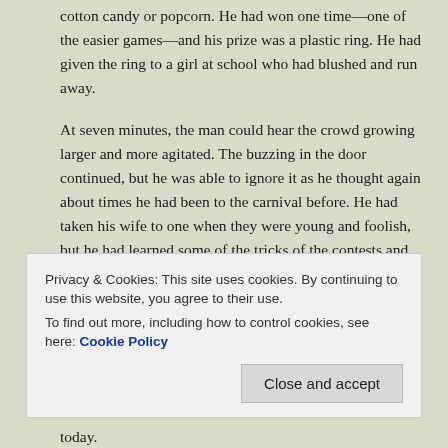cotton candy or popcorn. He had won one time—one of the easier games—and his prize was a plastic ring. He had given the ring to a girl at school who had blushed and run away.
At seven minutes, the man could hear the crowd growing larger and more agitated. The buzzing in the door continued, but he was able to ignore it as he thought again about times he had been to the carnival before. He had taken his wife to one when they were young and foolish, but he had learned some of the tricks of the contests and knew which ones he would lose and which ones he could win. She had come home with a giant smiling stuffed bear that night, and she had kissed him for the first time on her doorstep before she stepped inside.
Privacy & Cookies: This site uses cookies. By continuing to use this website, you agree to their use.
To find out more, including how to control cookies, see here: Cookie Policy
today.